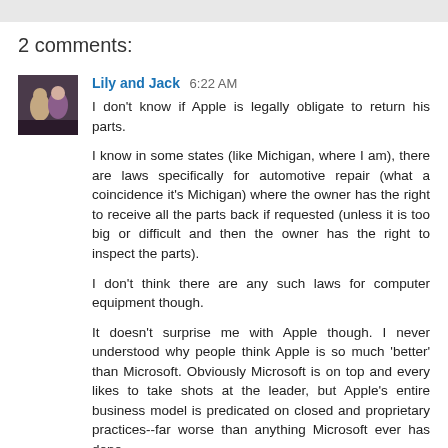2 comments:
Lily and Jack 6:22 AM
I don't know if Apple is legally obligate to return his parts.

I know in some states (like Michigan, where I am), there are laws specifically for automotive repair (what a coincidence it's Michigan) where the owner has the right to receive all the parts back if requested (unless it is too big or difficult and then the owner has the right to inspect the parts).

I don't think there are any such laws for computer equipment though.

It doesn't surprise me with Apple though. I never understood why people think Apple is so much 'better' than Microsoft. Obviously Microsoft is on top and every likes to take shots at the leader, but Apple's entire business model is predicated on closed and proprietary practices--far worse than anything Microsoft ever has done.